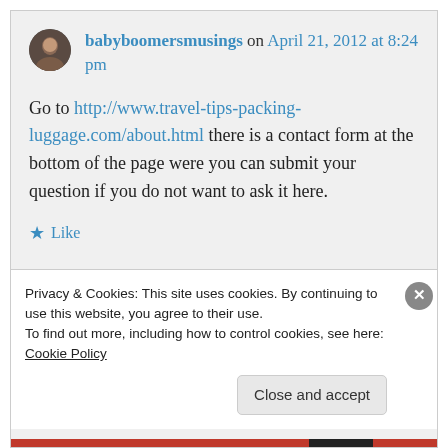babyboomersmusings on April 21, 2012 at 8:24 pm
Go to http://www.travel-tips-packing-luggage.com/about.html there is a contact form at the bottom of the page were you can submit your question if you do not want to ask it here.
★ Like
Privacy & Cookies: This site uses cookies. By continuing to use this website, you agree to their use.
To find out more, including how to control cookies, see here: Cookie Policy
Close and accept